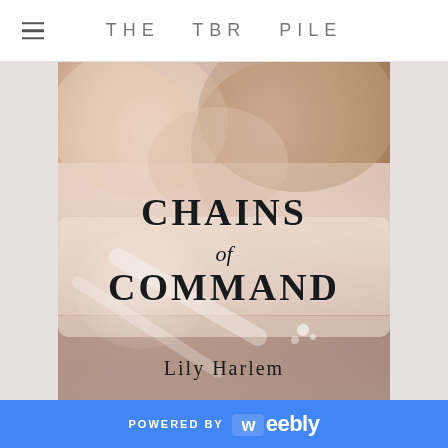THE TBR PILE
[Figure (illustration): Book cover for 'Chains of Command' by Lily Harlem. Shows two people in an intimate embrace from the shoulders up on a soft, warm-toned background. The title 'CHAINS of COMMAND' appears in large serif text in the center of the cover, and the author name 'Lily Harlem' is at the bottom.]
POWERED BY weebly